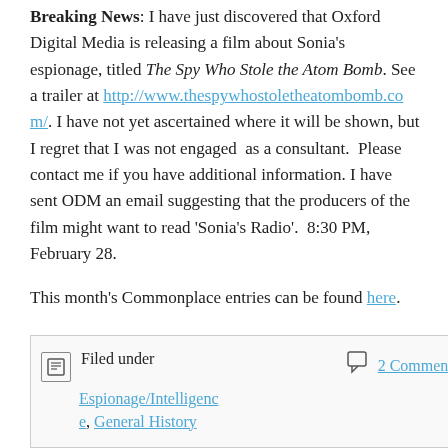Breaking News: I have just discovered that Oxford Digital Media is releasing a film about Sonia's espionage, titled The Spy Who Stole the Atom Bomb. See a trailer at http://www.thespywhostoletheatombomb.com/. I have not yet ascertained where it will be shown, but I regret that I was not engaged as a consultant. Please contact me if you have additional information. I have sent ODM an email suggesting that the producers of the film might want to read 'Sonia's Radio'. 8:30 PM, February 28.
This month's Commonplace entries can be found here.
Filed under Espionage/Intelligence, General History  2 Comments